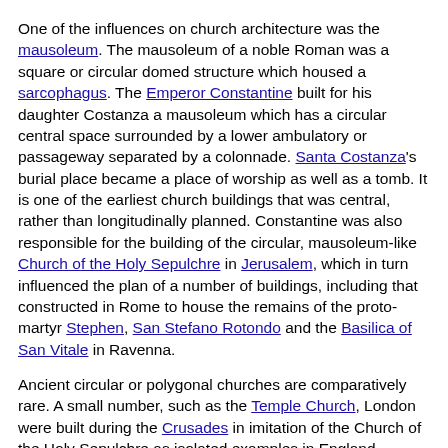One of the influences on church architecture was the mausoleum. The mausoleum of a noble Roman was a square or circular domed structure which housed a sarcophagus. The Emperor Constantine built for his daughter Costanza a mausoleum which has a circular central space surrounded by a lower ambulatory or passageway separated by a colonnade. Santa Costanza's burial place became a place of worship as well as a tomb. It is one of the earliest church buildings that was central, rather than longitudinally planned. Constantine was also responsible for the building of the circular, mausoleum-like Church of the Holy Sepulchre in Jerusalem, which in turn influenced the plan of a number of buildings, including that constructed in Rome to house the remains of the proto-martyr Stephen, San Stefano Rotondo and the Basilica of San Vitale in Ravenna.
Ancient circular or polygonal churches are comparatively rare. A small number, such as the Temple Church, London were built during the Crusades in imitation of the Church of the Holy Sepulchre as isolated examples in England, France, and Spain. In Denmark such churches in the Romanesque style are much more numerous. In parts of Eastern Europe, there are also round tower-like churches of the Romanesque period but they are generally vernacular architecture and of small scale. Others, like St Martin's Rotunda at Visegrad, in the Czech Republic, are finely detailed